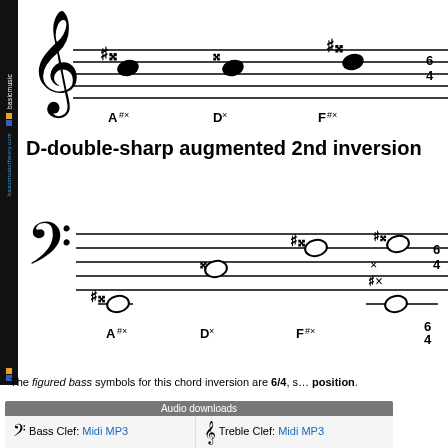[Figure (music-notation): Treble clef staff showing A#x, Dx, F#x notes with accidentals and whole notes]
D-double-sharp augmented 2nd inversion
[Figure (music-notation): Bass clef staff showing A#x, Dx, F#x notes with double-sharp accidentals and whole notes, with 6/4 figured bass symbol]
The figured bass symbols for this chord inversion are 6/4, s... position.
| Audio downloads |
| --- |
| Bass Clef: Midi MP3 | Treble Clef: Midi MP3 |